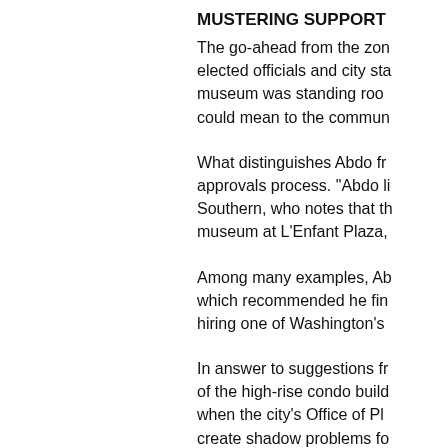MUSTERING SUPPORT
The go-ahead from the zon elected officials and city sta museum was standing roo could mean to the commun
What distinguishes Abdo fr approvals process. "Abdo li Southern, who notes that th museum at L'Enfant Plaza,
Among many examples, Ab which recommended he fin hiring one of Washington's
In answer to suggestions fr of the high-rise condo build when the city's Office of Pl create shadow problems fo and made adjustments to th